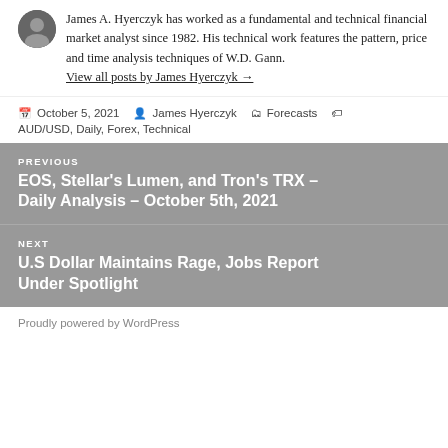James A. Hyerczyk has worked as a fundamental and technical financial market analyst since 1982. His technical work features the pattern, price and time analysis techniques of W.D. Gann.
View all posts by James Hyerczyk →
October 5, 2021  James Hyerczyk  Forecasts  AUD/USD, Daily, Forex, Technical
PREVIOUS
EOS, Stellar's Lumen, and Tron's TRX – Daily Analysis – October 5th, 2021
NEXT
U.S Dollar Maintains Rage, Jobs Report Under Spotlight
Proudly powered by WordPress